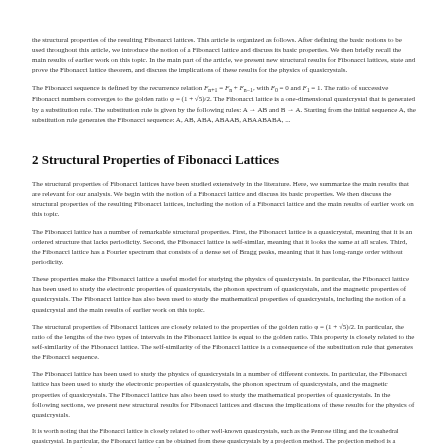the structural properties of the resulting Fibonacci lattices. This article is organized as follows. After defining the basic notions to be used throughout this article, we introduce the notion of a Fibonacci lattice and discuss its basic properties. We then briefly recall the main results of earlier work on this topic. In the main part of the article, we present new structural results for Fibonacci lattices, state and prove the Fibonacci lattice theorem, and discuss the implications of these results for the physics of quasicrystals.
2 Structural Properties of Fibonacci Lattices
The structural properties of Fibonacci lattices have been studied extensively in the literature. Here, we summarize the main results that are relevant for our analysis. We begin with the notion of a Fibonacci lattice and discuss its basic properties. We then discuss the structural properties of the resulting Fibonacci lattices, including the notion of a Fibonacci lattice and the main results of earlier work on this topic.
The Fibonacci sequence is defined by the recurrence relation Fn+1 = Fn + Fn−1, with F0 = 0 and F1 = 1. The ratio of successive Fibonacci numbers converges to the golden ratio φ = (1 + √5)/2. The Fibonacci lattice is a one-dimensional quasicrystal that is generated by a substitution rule. The substitution rule is given by the following rules: A → AB and B → A. Starting from the initial sequence A, the substitution rule generates the Fibonacci sequence: A, AB, ABA, ABAAB, ABAABABA, ...
The Fibonacci lattice has a number of remarkable structural properties. First, the Fibonacci lattice is a quasicrystal, meaning that it is an ordered structure that lacks periodicity. Second, the Fibonacci lattice is self-similar, meaning that it looks the same at all scales. Third, the Fibonacci lattice has a Fourier spectrum that consists of a dense set of Bragg peaks, meaning that it has long-range order without periodicity.
These properties make the Fibonacci lattice a useful model for studying the physics of quasicrystals. In particular, the Fibonacci lattice has been used to study the electronic properties of quasicrystals, the phonon spectrum of quasicrystals, and the magnetic properties of quasicrystals. The Fibonacci lattice has also been used to study the mathematical properties of quasicrystals, including the notion of a quasicrystal and the main results of earlier work on this topic.